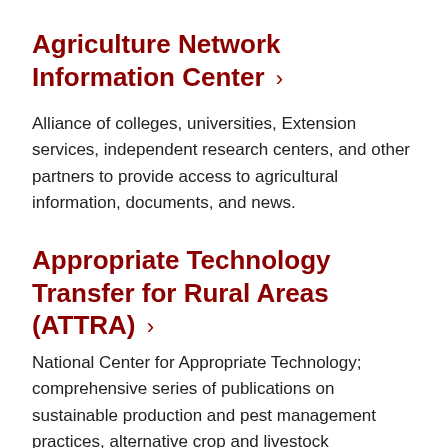Agriculture Network Information Center ›
Alliance of colleges, universities, Extension services, independent research centers, and other partners to provide access to agricultural information, documents, and news.
Appropriate Technology Transfer for Rural Areas (ATTRA) ›
National Center for Appropriate Technology; comprehensive series of publications on sustainable production and pest management practices, alternative crop and livestock enterprises, innovative marketing, organic certification, and more.